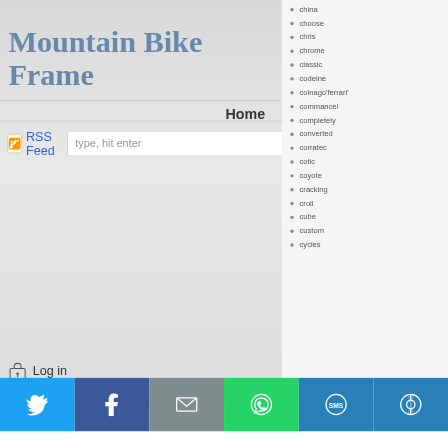Mountain Bike Frame
Home
[Figure (screenshot): RSS feed icon in orange]
RSS Feed  type, hit enter
china
choose
chris
chrome
classic
codeine
colnago'ferrari'
commancel
completely
converted
corratec
cotic
coyote
cracking
croll
cube
custom
cycles
Log in
[Figure (screenshot): Social sharing bar with Twitter, Facebook, Email, WhatsApp, SMS, and other share icons]